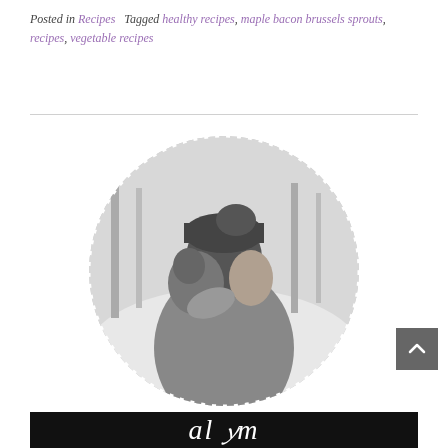Posted in Recipes   Tagged healthy recipes, maple bacon brussels sprouts, recipes, vegetable recipes
[Figure (photo): Black and white circular portrait photo of a woman holding a baby/child in a snowy outdoor setting, framed with a dotted white circle border]
[Figure (logo): Black banner at the bottom with white cursive/script text logo]